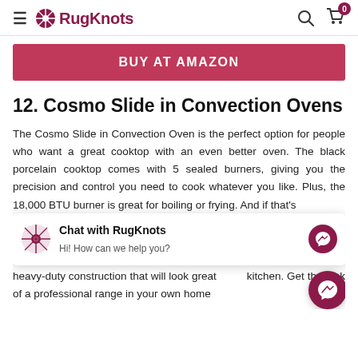RugKnots — hamburger menu, search, cart (0)
[Figure (screenshot): BUY AT AMAZON button in dark red/pink]
12. Cosmo Slide in Convection Ovens
The Cosmo Slide in Convection Oven is the perfect option for people who want a great cooktop with an even better oven. The black porcelain cooktop comes with 5 sealed burners, giving you the precision and control you need to cook whatever you like. Plus, the 18,000 BTU burner is great for boiling or frying. And if that's [r] [f] everything cooks more evenly in less time. Plus, slide in features heavy-duty construction that will look great kitchen. Get the look of a professional range in your own home
[Figure (screenshot): Chat with RugKnots overlay: Hi! How can we help you? with messenger icon]